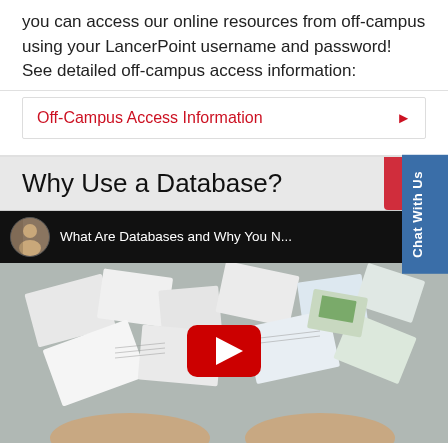You can access our online resources from off-campus using your LancerPoint username and password! See detailed off-campus access information:
Off-Campus Access Information
Why Use a Database?
[Figure (screenshot): YouTube video embed showing 'What Are Databases and Why You N...' with a thumbnail of hands spreading papers/cards on a table, red YouTube play button overlay, and a circular channel icon.]